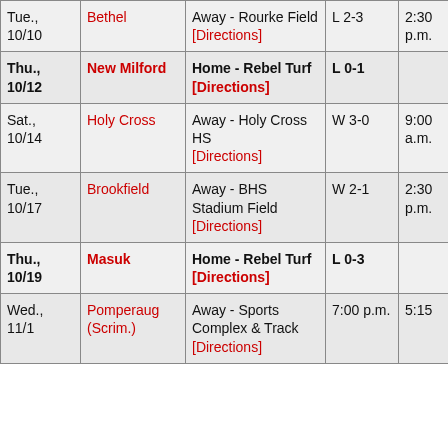| Date | Opponent | Location | Result | Time |
| --- | --- | --- | --- | --- |
| Tue., 10/10 | Bethel | Away - Rourke Field [Directions] | L 2-3 | 2:30 p.m. |
| Thu., 10/12 | New Milford | Home - Rebel Turf [Directions] | L 0-1 |  |
| Sat., 10/14 | Holy Cross | Away - Holy Cross HS [Directions] | W 3-0 | 9:00 a.m. |
| Tue., 10/17 | Brookfield | Away - BHS Stadium Field [Directions] | W 2-1 | 2:30 p.m. |
| Thu., 10/19 | Masuk | Home - Rebel Turf [Directions] | L 0-3 |  |
| Wed., 11/1 | Pomperaug (Scrim.) | Away - Sports Complex & Track [Directions] | 7:00 p.m. | 5:15 |